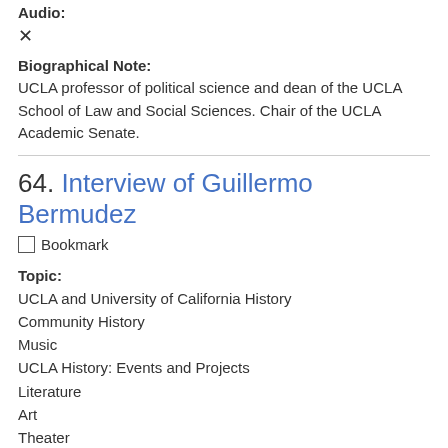Audio:
✕
Biographical Note:
UCLA professor of political science and dean of the UCLA School of Law and Social Sciences. Chair of the UCLA Academic Senate.
64. Interview of Guillermo Bermudez
Bookmark
Topic:
UCLA and University of California History
Community History
Music
UCLA History: Events and Projects
Literature
Art
Theater
Length: